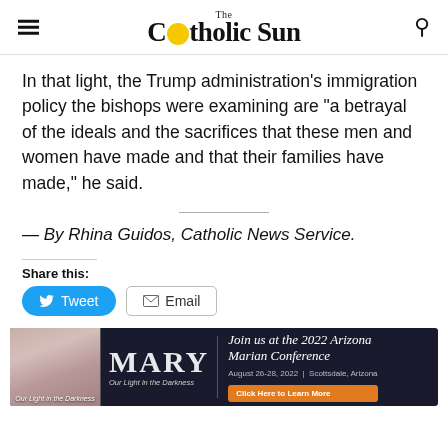The Catholic Sun
In that light, the Trump administration's immigration policy the bishops were examining are “a betrayal of the ideals and the sacrifices that these men and women have made and that their families have made,” he said.
— By Rhina Guidos, Catholic News Service.
Share this:
[Figure (screenshot): Tweet and Email share buttons]
[Figure (other): MARY Our Light in the Darkness - Join us at the 2022 Arizona Marian Conference. August 26-28, 2022 | Scottsdale, Arizona. Click Here to Learn More.]